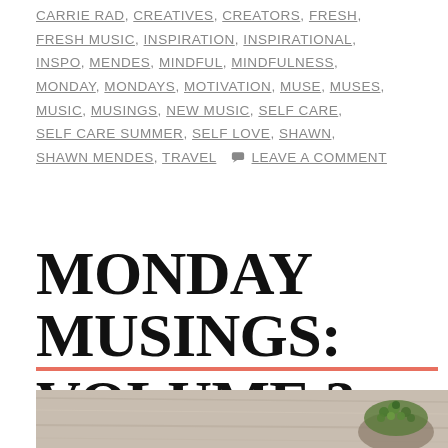CARRIE RAD, CREATIVES, CREATORS, FRESH, FRESH MUSIC, INSPIRATION, INSPIRATIONAL, INSPO, MENDES, MINDFUL, MINDFULNESS, MONDAY, MONDAYS, MOTIVATION, MUSE, MUSES, MUSIC, MUSINGS, NEW MUSIC, SELF CARE, SELF CARE SUMMER, SELF LOVE, SHAWN, SHAWN MENDES, TRAVEL   LEAVE A COMMENT
MONDAY MUSINGS: VOLUME 3
[Figure (photo): Top-down photo of a wooden surface with a small pot containing green succulent or berry plant in the bottom right area]